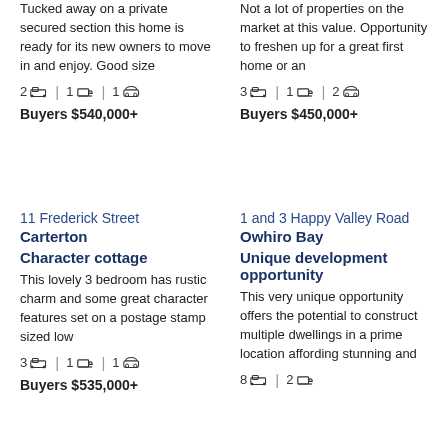Tucked away on a private secured section this home is ready for its new owners to move in and enjoy. Good size
2 bed | 1 bath | 1 garage
Buyers $540,000+
Not a lot of properties on the market at this value. Opportunity to freshen up for a great first home or an
3 bed | 1 bath | 2 garage
Buyers $450,000+
11 Frederick Street
Carterton
Character cottage
This lovely 3 bedroom has rustic charm and some great character features set on a postage stamp sized low
3 bed | 1 bath | 1 garage
Buyers $535,000+
1 and 3 Happy Valley Road
Owhiro Bay
Unique development opportunity
This very unique opportunity offers the potential to construct multiple dwellings in a prime location affording stunning and
8 bed | 2 bath